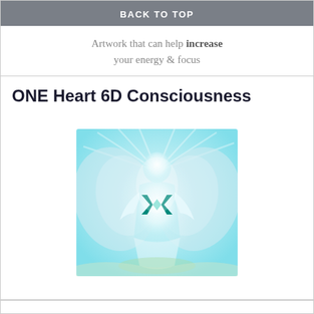BACK TO TOP
Artwork that can help increase your energy & focus
ONE Heart 6D Consciousness
[Figure (illustration): Digital artwork showing a glowing white human figure with wings and a green geometric symbol on the chest, set against a soft blue and teal background with rays of light emanating outward.]